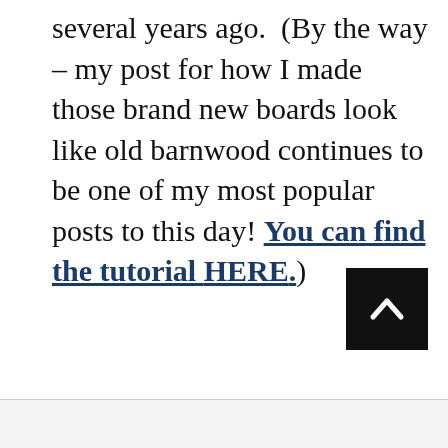several years ago.  (By the way – my post for how I made those brand new boards look like old barnwood continues to be one of my most popular posts to this day! You can find the tutorial HERE.)
[Figure (other): Black square button with a white upward-pointing chevron arrow, used as a scroll-to-top navigation element]